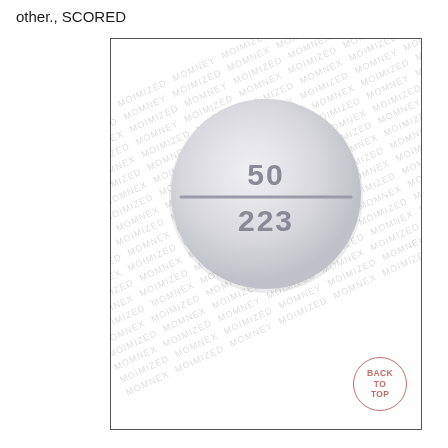other., SCORED
[Figure (photo): Photograph of a round white scored tablet imprinted with '50' on the top half and '223' on the bottom half, with a score line across the middle. The tablet is shown on a watermarked background with repeated text. A 'BACK TO TOP' circular stamp appears in the lower right corner of the image box.]